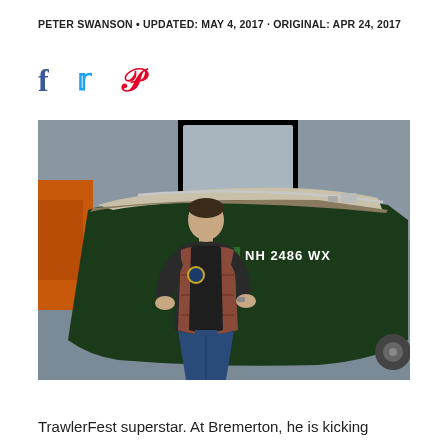PETER SWANSON • UPDATED: MAY 4, 2017 · ORIGINAL: APR 24, 2017
[Figure (photo): Man standing in front of a dark green boat with registration number NH 2486 WX, inside what appears to be a storage garage. The man is wearing a plaid shirt under a vest with a logo patch.]
TrawlerFest superstar. At Bremerton, he is kicking